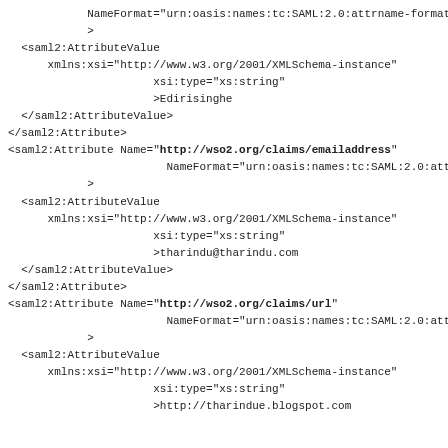NameFormat="urn:oasis:names:tc:SAML:2.0:attrname-format:basic"
            >
  <saml2:AttributeValue
      xmlns:xsi="http://www.w3.org/2001/XMLSchema-instance"
                      xsi:type="xs:string"
                      >Edirisinghe
  </saml2:AttributeValue>
</saml2:Attribute>
<saml2:Attribute Name="http://wso2.org/claims/emailaddress"
                        NameFormat="urn:oasis:names:tc:SAML:2.0:attrname-format:basic"
            >
  <saml2:AttributeValue
      xmlns:xsi="http://www.w3.org/2001/XMLSchema-instance"
                      xsi:type="xs:string"
                      >tharindu@tharindu.com
  </saml2:AttributeValue>
</saml2:Attribute>
<saml2:Attribute Name="http://wso2.org/claims/url"
                        NameFormat="urn:oasis:names:tc:SAML:2.0:attrname-format:basic"
            >
  <saml2:AttributeValue
      xmlns:xsi="http://www.w3.org/2001/XMLSchema-instance"
                      xsi:type="xs:string"
                      >http://tharindue.blogspot.com